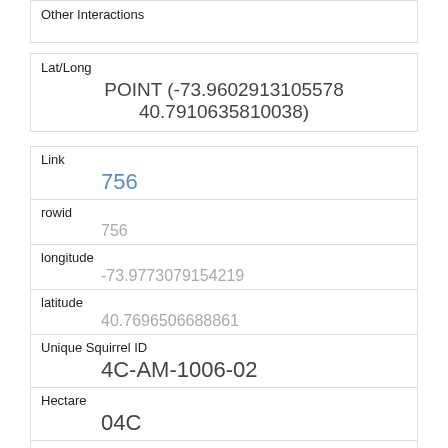| Other Interactions |  |
| Lat/Long | POINT (-73.9602913105578 40.7910635810038) |
| Link | 756 |
| rowid | 756 |
| longitude | -73.9773079154219 |
| latitude | 40.7696506688861 |
| Unique Squirrel ID | 4C-AM-1006-02 |
| Hectare | 04C |
| Shift | AM |
| Date | 10062018 |